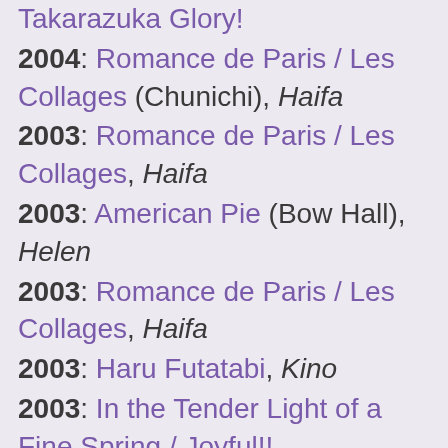2004: Takarazuka Glory!
2004: Romance de Paris / Les Collages (Chunichi), Haifa
2003: Romance de Paris / Les Collages, Haifa
2003: American Pie (Bow Hall), Helen
2003: Romance de Paris / Les Collages, Haifa
2003: Haru Futatabi, Kino
2003: In the Tender Light of a Fine Spring / Joyful!!
2002: Saikai / The Splendor of 1000 Beats 2002 (national tour)
2002: Memories of Barcelona / On the Fifth